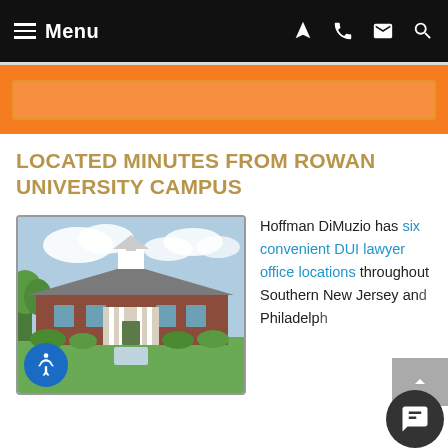Menu
LOCATED MINUTES FROM ROWAN UNIVERSITY CAMPUS
[Figure (photo): Photograph of a brick colonial-style law office building with white columns, a cupola, landscaped lawn and shrubbery under a partly cloudy sky.]
Hoffman DiMuzio has six convenient DUI lawyer office locations throughout Southern New Jersey and Philadelphia